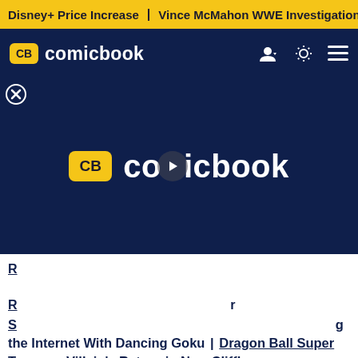Disney+ Price Increase | Vince McMahon WWE Investigation
CB comicbook
[Figure (screenshot): Comicbook.com video player placeholder showing the CB comicbook logo centered on a dark navy background with a play button overlay and a close (X) button in the top-left corner.]
Related: Dragon Ball Super Super Hero | Dragon Ball Super Teases a Villain's Return in New Cliffhanger
Dragon Ball Super: Super Hero will be airing nationwide in